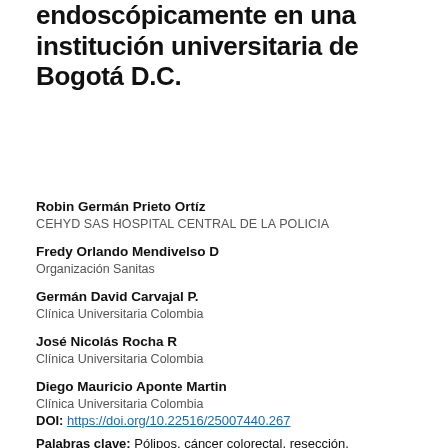endoscópicamente en una institución universitaria de Bogotá D.C.
Robin Germán Prieto Ortíz
CEHYD SAS HOSPITAL CENTRAL DE LA POLICIA
Fredy Orlando Mendivelso D
Organización Sanitas
Germán David Carvajal P.
Clínica Universitaria Colombia
José Nicolás Rocha R
Clínica Universitaria Colombia
Diego Mauricio Aponte Martin
Clínica Universitaria Colombia
DOI: https://doi.org/10.22516/25007440.267
Palabras clave: Pólipos, cáncer colorectal, resección,